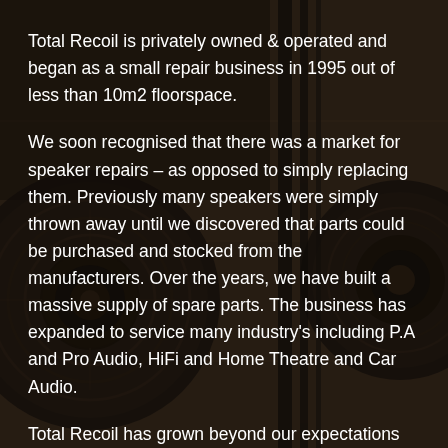[Figure (photo): Dark background photo of audio speaker components including a circular speaker cone/driver and wooden panel, with dark overlay]
Total Recoil is privately owned & operated and began as a small repair business in 1995 out of less than 10m2 floorspace.
We soon recognised that there was a market for speaker repairs – as opposed to simply replacing them. Previously many speakers were simply thrown away until we discovered that parts could be purchased and stocked from the manufacturers. Over the years, we have built a massive supply of spare parts. The business has expanded to service many industry's including P.A and Pro Audio, HiFi and Home Theatre and Car Audio.
Total Recoil has grown beyond our expectations